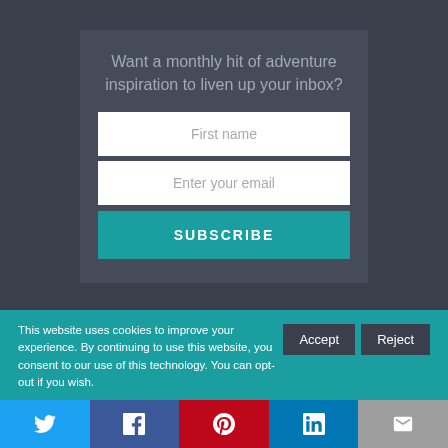Want a monthly hit of adventure inspiration to liven up your inbox?
First name
Enter your email
SUBSCRIBE
This website uses cookies to improve your experience. By continuing to use this website, you consent to our use of this technology. You can opt-out if you wish.
Accept
Reject